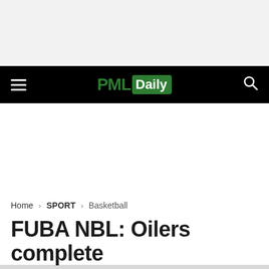PML Daily
Home › SPORT › Basketball
FUBA NBL: Oilers complete